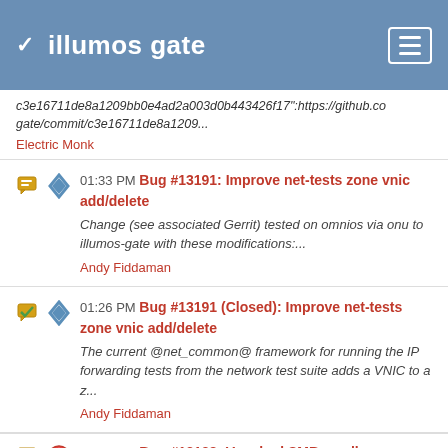illumos gate
c3e16711de8a1209bb0e4ad2a003d0b443426f17":https://github.co gate/commit/c3e16711de8a1209...
Electric Monk
01:33 PM Bug #13191: Improve net-tests zone vnic add/delete
Change (see associated Gerrit) tested on omnios via onu to illumos-gate with these modifications:...
Andy Fiddaman
01:26 PM Bug #13191 (Closed): Improve net-tests zone vnic add/delete
The current @net_common@ framework for running the IP forwarding tests from the network test suite adds a VNIC to a z...
Andy Fiddaman
03:42 PM Bug #13138: Very bad SMB small file/request